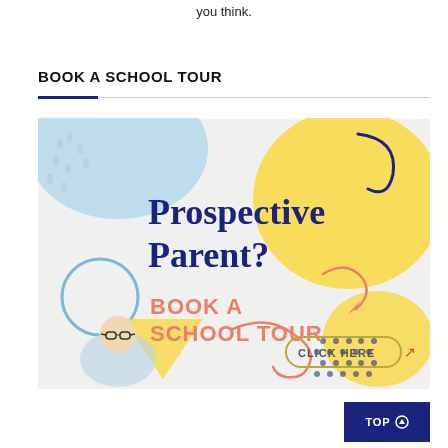you think.
BOOK A SCHOOL TOUR
[Figure (illustration): Promotional banner for a school tour. Light grey background with colorful decorative shapes (blue, yellow, pink). Large text reads 'Prospective Parent?' in dark navy bold font. Below that in pink cursive-style font: 'BOOK A SCHOOL TOUR' with an arrow illustration. A button reads 'CLICK HERE' with a cursor icon. A child wearing glasses is shown in the lower left corner.]
TOP ⊙